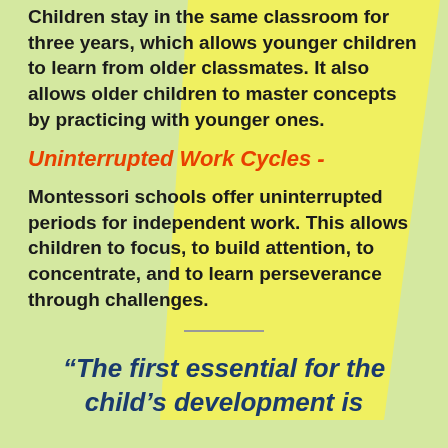Children stay in the same classroom for three years, which allows younger children to learn from older classmates. It also allows older children to master concepts by practicing with younger ones.
Uninterrupted Work Cycles -
Montessori schools offer uninterrupted periods for independent work. This allows children to focus, to build attention, to concentrate, and to learn perseverance through challenges.
“The first essential for the child’s development is